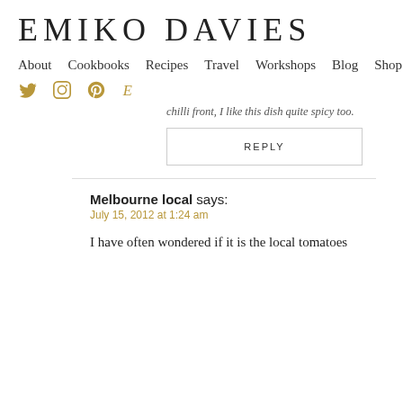EMIKO DAVIES
About  Cookbooks  Recipes  Travel  Workshops  Blog  Shop
chilli front, I like this dish quite spicy too.
REPLY
Melbourne local says:
July 15, 2012 at 1:24 am
I have often wondered if it is the local tomatoes